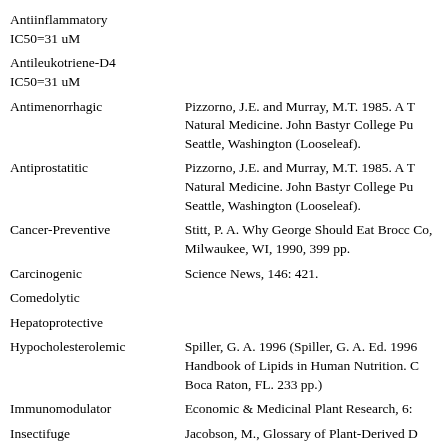Antiinflammatory IC50=31 uM
Antileukotriene-D4 IC50=31 uM
Antimenorrhagic
Pizzorno, J.E. and Murray, M.T. 1985. A T Natural Medicine. John Bastyr College Pu Seattle, Washington (Looseleaf).
Antiprostatitic
Pizzorno, J.E. and Murray, M.T. 1985. A T Natural Medicine. John Bastyr College Pu Seattle, Washington (Looseleaf).
Cancer-Preventive
Stitt, P. A. Why George Should Eat Brocc Co, Milwaukee, WI, 1990, 399 pp.
Carcinogenic
Science News, 146: 421.
Comedolytic
Hepatoprotective
Hypocholesterolemic
Spiller, G. A. 1996 (Spiller, G. A. Ed. 1996 Handbook of Lipids in Human Nutrition. C Boca Raton, FL. 233 pp.)
Immunomodulator
Economic & Medicinal Plant Research, 6:
Insectifuge
Jacobson, M., Glossary of Plant-Derived D Deterrents, CRC Press, Inc., Boca Raton, F 1990.